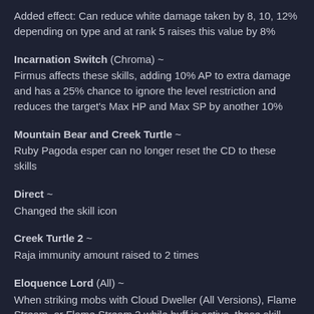Added effect: Can reduce white damage taken by 8, 10, 12% depending on type and at rank 5 raises this value by 8%
Incarnation Switch (Chroma) ~
Firmus affects these skills, adding 10% AP to extra damage and has a 25% chance to ignore the level restriction and reduces the target's Max HP and Max SP by another 10%
Mountain Bear and Creek Turtle ~
Ruby Pagoda esper can no longer reset the CD to these skills
Direct ~
Changed the skill icon
Creek Turtle 2 ~
Raja immunity amount raised to 2 times
Eloquence Lord (All) ~
When striking mobs with Cloud Dweller (All Versions), Flame Stream, or Flame Stream 2 while buff is active, those skill damage increases by 20%